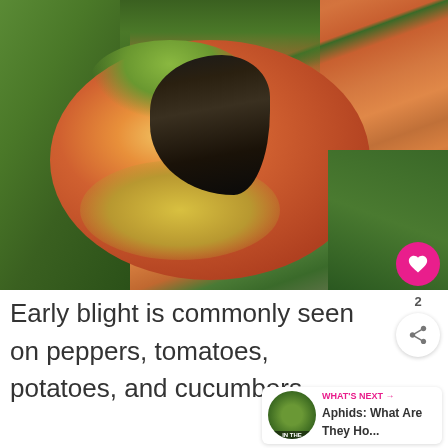[Figure (photo): Close-up photo of a red/orange tomato with a slug or snail on it, showing dark pest damage near the stem area. Green plant leaves visible in background. The tomato shows yellow-green discoloration.]
Early blight is commonly seen on peppers, tomatoes, potatoes, and cucumbers.
WHAT'S NEXT → Aphids: What Are They Ho...